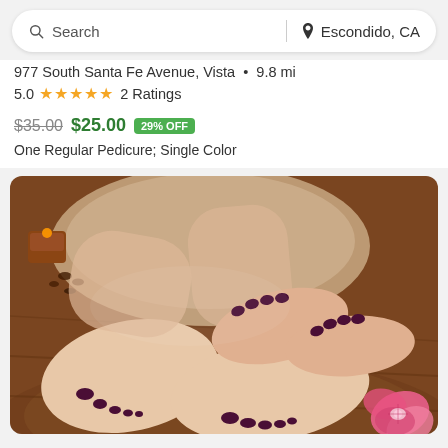Search | Escondido, CA
977 South Santa Fe Avenue, Vista • 9.8 mi
5.0 ★★★★★ 2 Ratings
$35.00 $25.00 29% OFF
One Regular Pedicure; Single Color
[Figure (photo): Close-up photo of a woman's feet and hands with dark plum/maroon nail polish, resting on a wooden surface with a lit candle, decorative stones, and pink orchid flowers nearby.]